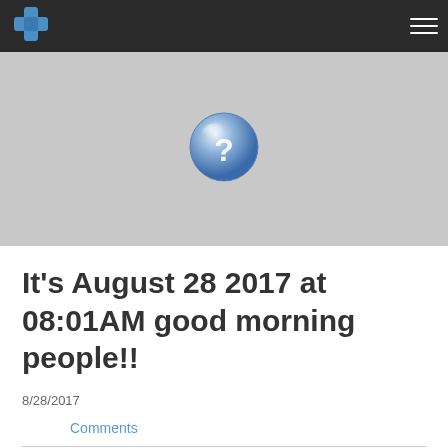[Figure (logo): Website logo icon — blue cross/plus shape on dark navbar background]
[Figure (photo): Gray hero banner image with a blue glass question mark icon in the center]
It's August 28 2017 at 08:01AM good morning people!!
8/28/2017
Comments